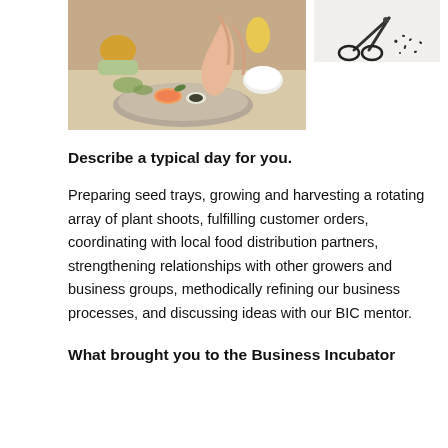[Figure (photo): A hand plating sushi/food on a ceramic plate with vegetables and herbs in the background]
[Figure (photo): Scissors with dark crumbs or seeds on a white surface]
Describe a typical day for you.
Preparing seed trays, growing and harvesting a rotating array of plant shoots, fulfilling customer orders, coordinating with local food distribution partners, strengthening relationships with other growers and business groups, methodically refining our business processes, and discussing ideas with our BIC mentor.
What brought you to the Business Incubator